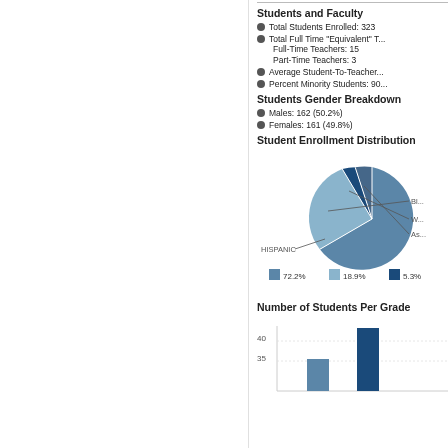Students and Faculty
Total Students Enrolled: 323
Total Full Time "Equivalent" T...
Full-Time Teachers: 15
Part-Time Teachers: 3
Average Student-To-Teacher...
Percent Minority Students: 90...
Students Gender Breakdown
Males: 162 (50.2%)
Females: 161 (49.8%)
Student Enrollment Distribution
[Figure (pie-chart): Student Enrollment Distribution]
Number of Students Per Grade
[Figure (bar-chart): Number of Students Per Grade]